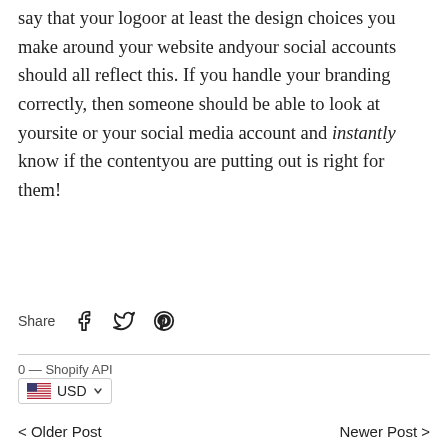say that your logoor at least the design choices you make around your website andyour social accounts should all reflect this. If you handle your branding correctly, then someone should be able to look at yoursite or your social media account and instantly know if the contentyou are putting out is right for them!
Share [Facebook] [Twitter] [Pinterest]
0 — Shopify API
USD
< Older Post    Newer Post >